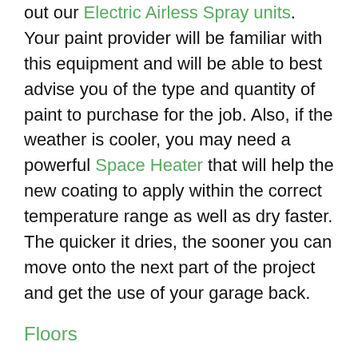out our Electric Airless Spray units. Your paint provider will be familiar with this equipment and will be able to best advise you of the type and quantity of paint to purchase for the job. Also, if the weather is cooler, you may need a powerful Space Heater that will help the new coating to apply within the correct temperature range as well as dry faster. The quicker it dries, the sooner you can move onto the next part of the project and get the use of your garage back.
Floors
Want a garage that has a show room floor?  Consider painting the concrete or putting an epoxy coating over the concrete as there are some great finishes available.  Check out All Purpose Coatings for some ideas.   As either of these processes require the concrete to be prepared, you will need to use a